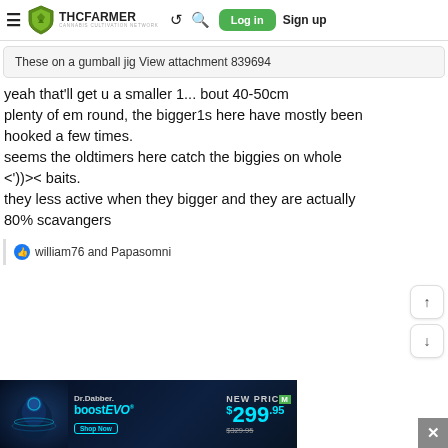THCFarmer - Cannabis Cultivation Network | Log in | Sign up
These on a gumball jig View attachment 839694
yeah that'll get u a smaller 1... bout 40-50cm plenty of em round, the bigger1s here have mostly been hooked a few times.
seems the oldtimers here catch the biggies on whole <'))>< baits.
they less active when they bigger and they are actually 80% scavangers
william76 and Papasomni
[Figure (screenshot): Dr.Dabber boost EVO advertisement banner - NEW PRICE $299.95 (was $329.95)]